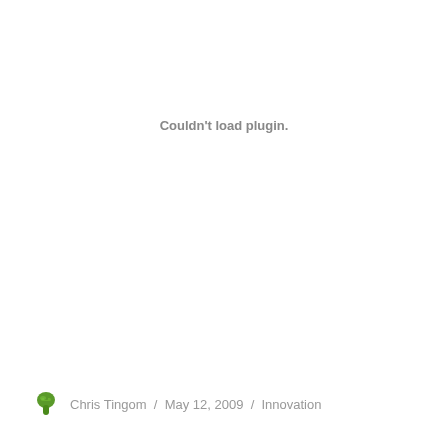Couldn't load plugin.
Chris Tingom / May 12, 2009 / Innovation